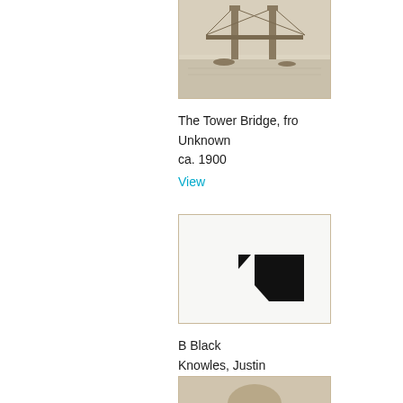[Figure (photo): Framed etching of Tower Bridge, London, ca. 1900, with tan/beige border, showing the bridge and boats on the Thames]
The Tower Bridge, fro
Unknown
ca. 1900
View
[Figure (photo): Framed artwork 'B Black' by Justin Knowles, 1969/71, showing two black geometric shapes on white background]
B Black
Knowles, Justin
1969/71
View